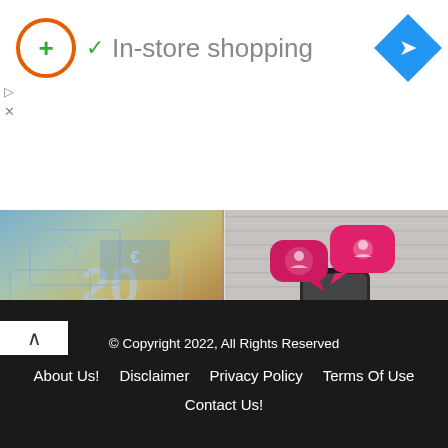[Figure (screenshot): Ad banner with orange circle logo with green plus sign, green checkmark, 'In-store shopping' text in gray, and blue diamond navigation icon. Small play and X controls on left side.]
[Figure (photo): Photo of Euro banknotes spread out with number 20 visible]
[Figure (photo): Photo of smartphone with pink/red social media chat bubble icons on light wooden background]
Imvu Usernames: 180+ Good Name Ideas For Imvu
June 10, 2021
200+ Catchy Slime Usernames Ideas For Instagram
May 11, 2021
© Copyright 2022, All Rights Reserved
About Us! Disclaimer Privacy Policy Terms Of Use Contact Us!